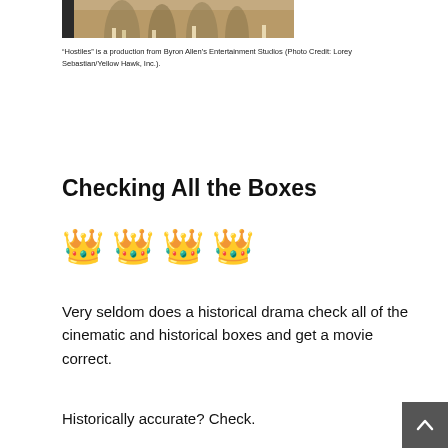[Figure (photo): Partial photo showing horses and legs on dry ground, bottom portion of a movie scene from 'Hostiles']
“Hostiles” is a production from Byron Allen’s Entertainment Studios (Photo Credit: Lorey Sebastian/Yellow Hawk, Inc.).
Checking All the Boxes
[Figure (other): Four crown emoji icons in a row representing a 4-crown rating]
Very seldom does a historical drama check all of the cinematic and historical boxes and get a movie correct.
Historically accurate? Check.